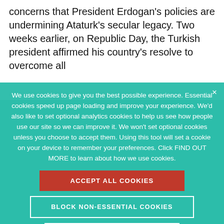concerns that President Erdogan's policies are undermining Ataturk's secular legacy. Two weeks earlier, on Republic Day, the Turkish president affirmed his country's resolve to overcome all difficulties and take its place as a leading country in the world, ahead of the 100th anniversary of the Republic in 2023.
We use cookies to give you the best possible experience. Essential cookies speed up page loading and improve your experience. We'd also like to set optional analytics cookies to help us see how people use our site so we can improve it. We won't set optional cookies unless you choose to accept them. Using this tool will set a cookie on your device to remember your preferences. Click FIND OUT MORE to learn about how we use cookies.
ACCEPT ALL COOKIES
BLOCK NON-ESSENTIAL COOKIES
FIND OUT MORE